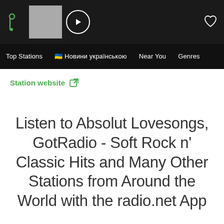[Figure (screenshot): App top navigation bar with radio.net logo (green icon), station thumbnail (gray), play button (white circle with triangle), and heart/favorite icon on the right, all on dark background]
Top Stations   🇺🇦 Новини українською   Near You   Genres
Station website 🔗
Listen to Absolut Lovesongs, GotRadio - Soft Rock n' Classic Hits and Many Other Stations from Around the World with the radio.net App